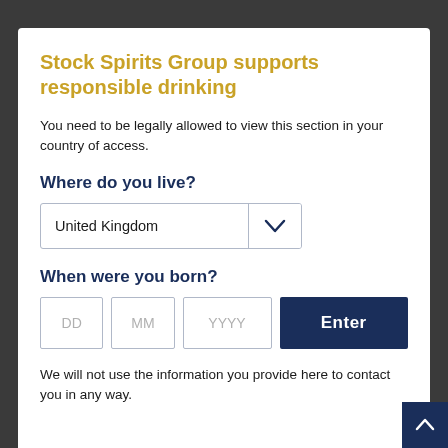Stock Spirits Group supports responsible drinking
You need to be legally allowed to view this section in your country of access.
Where do you live?
United Kingdom [dropdown]
When were you born?
DD MM YYYY [input fields] Enter [button]
We will not use the information you provide here to contact you in any way.